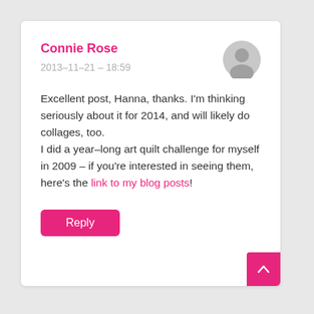Connie Rose
2013-11-21 – 18:59
Excellent post, Hanna, thanks. I'm thinking seriously about it for 2014, and will likely do collages, too.
I did a year-long art quilt challenge for myself in 2009 – if you're interested in seeing them, here's the link to my blog posts!